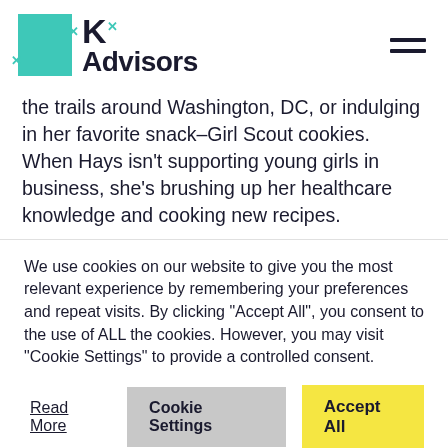[Figure (logo): Kx Advisors logo with teal square and bold text]
the trails around Washington, DC, or indulging in her favorite snack–Girl Scout cookies. When Hays isn't supporting young girls in business, she's brushing up her healthcare knowledge and cooking new recipes.
We use cookies on our website to give you the most relevant experience by remembering your preferences and repeat visits. By clicking "Accept All", you consent to the use of ALL the cookies. However, you may visit "Cookie Settings" to provide a controlled consent.
Read More  Cookie Settings  Accept All